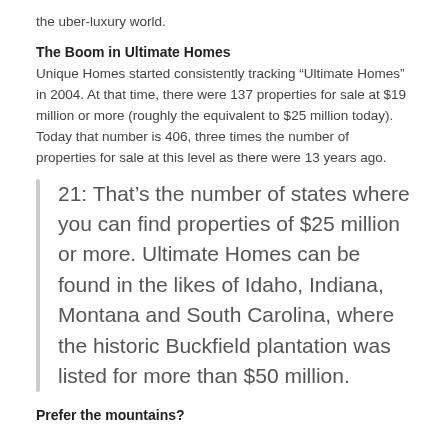the uber-luxury world.
The Boom in Ultimate Homes
Unique Homes started consistently tracking “Ultimate Homes” in 2004. At that time, there were 137 properties for sale at $19 million or more (roughly the equivalent to $25 million today). Today that number is 406, three times the number of properties for sale at this level as there were 13 years ago.
21: That’s the number of states where you can find properties of $25 million or more. Ultimate Homes can be found in the likes of Idaho, Indiana, Montana and South Carolina, where the historic Buckfield plantation was listed for more than $50 million.
Prefer the mountains?